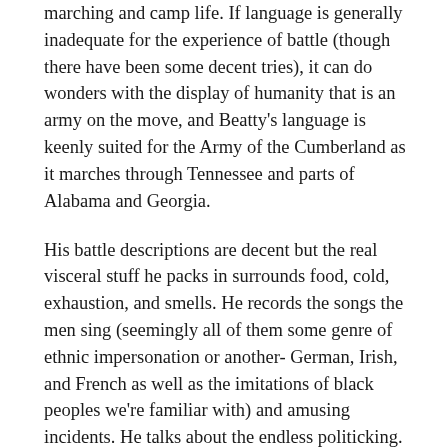marching and camp life. If language is generally inadequate for the experience of battle (though there have been some decent tries), it can do wonders with the display of humanity that is an army on the move, and Beatty's language is keenly suited for the Army of the Cumberland as it marches through Tennessee and parts of Alabama and Georgia.
His battle descriptions are decent but the real visceral stuff he packs in surrounds food, cold, exhaustion, and smells. He records the songs the men sing (seemingly all of them some genre of ethnic impersonation or another- German, Irish, and French as well as the imitations of black peoples we're familiar with) and amusing incidents. He talks about the endless politicking. At first this is mostly between officers; seemingly ever ambitious man from Ohio, Indiana, and Illinois saw the war more as an opportunity to make connections than anything else. But eventually a different kind of politics takes hold amongst the men- over the course of the war, you see them come to see themselves as a liberating army, and Beatty takes pride in that (and castigated both dithering, soft generals like Buell and domestic dissidents in harsh terms).